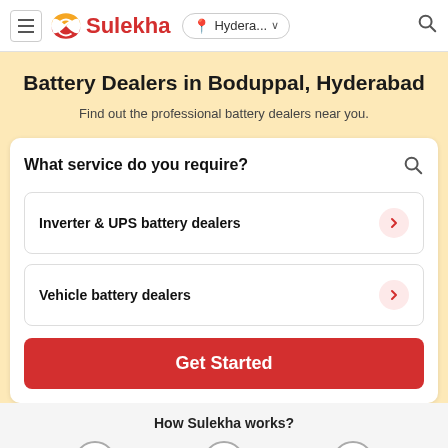Sulekha — Hydera... (navigation bar)
Battery Dealers in Boduppal, Hyderabad
Find out the professional battery dealers near you.
What service do you require?
Inverter & UPS battery dealers
Vehicle battery dealers
Get Started
How Sulekha works?
1  2  3